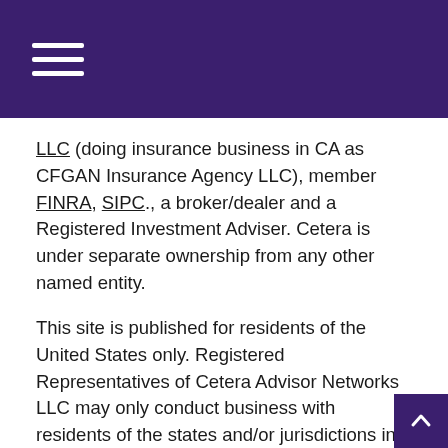[hamburger menu icon on dark purple header bar]
LLC (doing insurance business in CA as CFGAN Insurance Agency LLC), member FINRA, SIPC., a broker/dealer and a Registered Investment Adviser. Cetera is under separate ownership from any other named entity.
This site is published for residents of the United States only. Registered Representatives of Cetera Advisor Networks LLC may only conduct business with residents of the states and/or jurisdictions in which they are properly registered. Not all of the products and services referenced on this site may be available in every state and through every representative listed. For additional information please contact the representative(s) listed on the site, visit the Cetera Advisor Networks LLC site at www.ceteraadvisornetworks.com